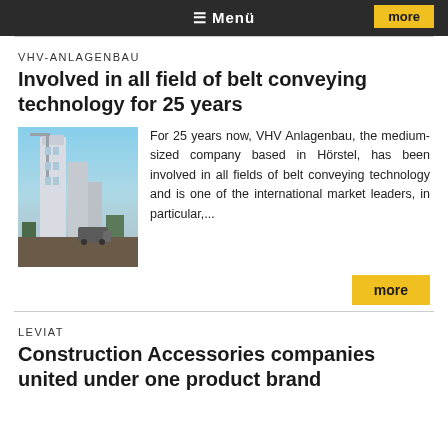≡ Menü
more
VHV-ANLAGENBAU
Involved in all field of belt conveying technology for 25 years
[Figure (photo): Industrial facility with tall white silo/building structure, crane, and truck in foreground against blue sky]
For 25 years now, VHV Anlagenbau, the medium-sized company based in Hörstel, has been involved in all fields of belt conveying technology and is one of the international market leaders, in particular,...
more
LEVIAT
Construction Accessories companies united under one product brand